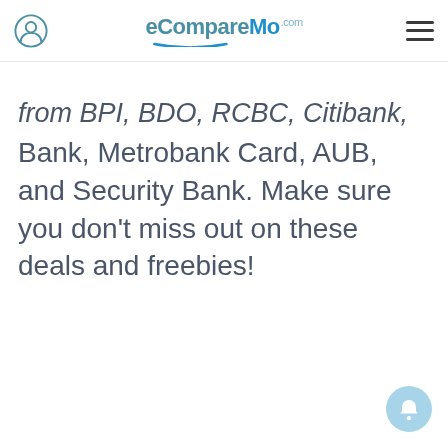eCompareMo.com
from BPI, BDO, RCBC, Citibank, EastWest Bank, Metrobank Card, AUB, and Security Bank. Make sure you don't miss out on these deals and freebies!